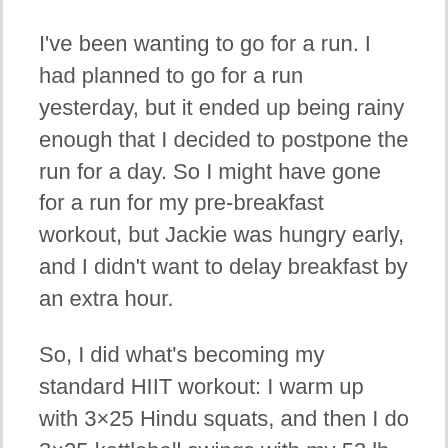I've been wanting to go for a run. I had planned to go for a run yesterday, but it ended up being rainy enough that I decided to postpone the run for a day. So I might have gone for a run for my pre-breakfast workout, but Jackie was hungry early, and I didn't want to delay breakfast by an extra hour.
So, I did what's becoming my standard HIIT workout: I warm up with 3×25 Hindu squats, and then I do 3×25 kettlebell swings with my 53 lb kettlebell. It's a quick workout—it's all done in 20 minutes, including some amount of pre-warmup warmup—and it's of high enough intensity to burn off plenty of glucose.
After breakfast (and a bit of digesting) I went ahead and got out for my planned run. After the persistently sore foot I've been dealing with for months now simply